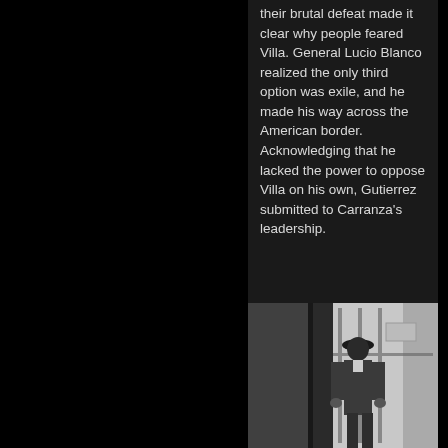their brutal defeat made it clear why people feared Villa. General Lucio Blanco realized the only third option was exile, and he made his way across the American border. Acknowledging that he lacked the power to oppose Villa on his own, Gutierrez submitted to Carranza's leadership.
[Figure (photo): Black and white photograph of a man in a suit and wide-brimmed hat standing near a doorway or window.]